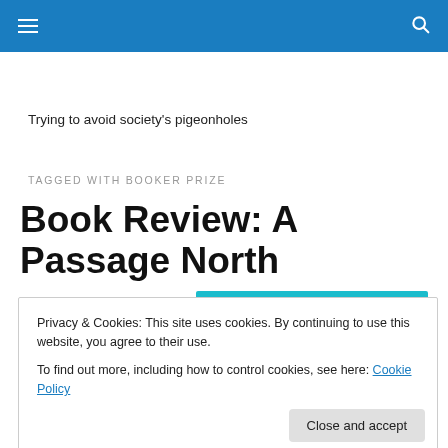Trying to avoid society's pigeonholes
TAGGED WITH BOOKER PRIZE
Book Review: A Passage North
Privacy & Cookies: This site uses cookies. By continuing to use this website, you agree to their use.
To find out more, including how to control cookies, see here: Cookie Policy